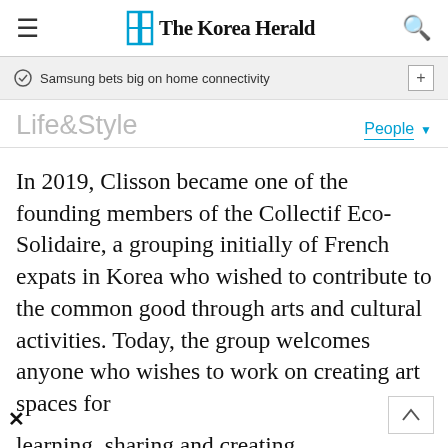The Korea Herald
Samsung bets big on home connectivity
Life&Style
People
In 2019, Clisson became one of the founding members of the Collectif Eco-Solidaire, a grouping initially of French expats in Korea who wished to contribute to the common good through arts and cultural activities. Today, the group welcomes anyone who wishes to work on creating art spaces for learning, sharing and creating.